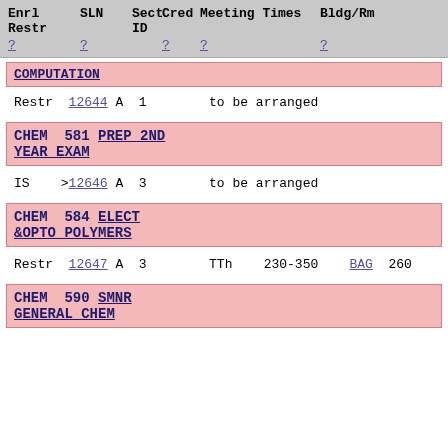Enrl Restr  SLN  Sect ID Cred  Meeting Times  Bldg/Rm  ?  ?  ?  ?  ?
COMPUTATION
Restr  12644  A  1        to be arranged
CHEM  581  PREP 2ND YEAR EXAM
IS     >12646  A  3        to be arranged
CHEM  584  ELECT &OPTO POLYMERS
Restr  12647  A  3        TTh  230-350  BAG  260
CHEM  590  SMNR GENERAL CHEM